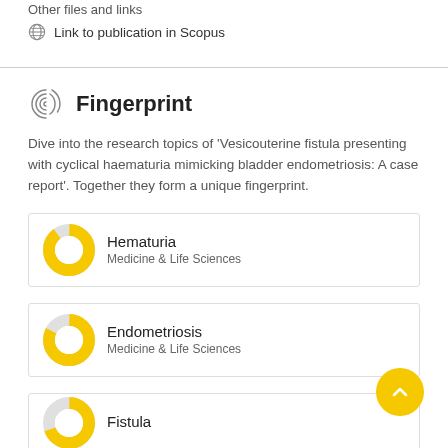Other files and links
Link to publication in Scopus
Fingerprint
Dive into the research topics of 'Vesicouterine fistula presenting with cyclical haematuria mimicking bladder endometriosis: A case report'. Together they form a unique fingerprint.
Hematuria
Medicine & Life Sciences
Endometriosis
Medicine & Life Sciences
Fistula